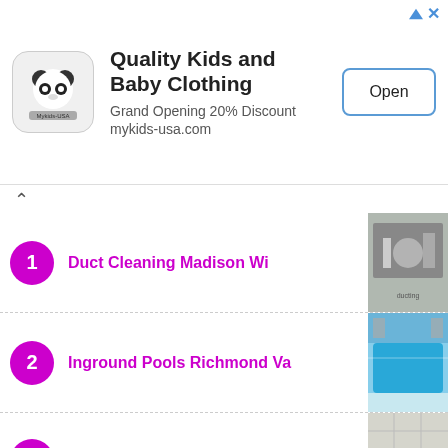[Figure (screenshot): Ad banner for Quality Kids and Baby Clothing with panda logo, Open button]
1 Duct Cleaning Madison Wi
2 Inground Pools Richmond Va
3 Armstrong 1205 Ceiling Tiles Sale
4 Stearns and Foster Vs Sealy
5 Gordon Lumber Fremont Ohio